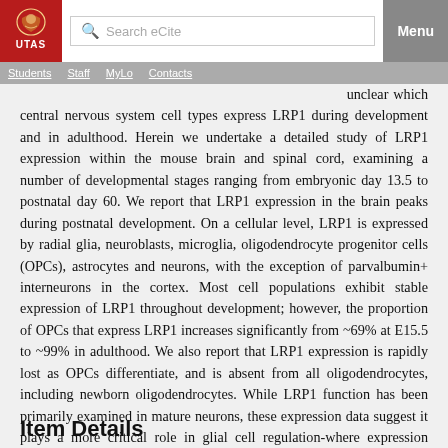UTAS — Search eCite — Menu
illustrated that LRP1 is expressed in the brain, yet it is unclear which central nervous system cell types express LRP1 during development and in adulthood. Herein we undertake a detailed study of LRP1 expression within the mouse brain and spinal cord, examining a number of developmental stages ranging from embryonic day 13.5 to postnatal day 60. We report that LRP1 expression in the brain peaks during postnatal development. On a cellular level, LRP1 is expressed by radial glia, neuroblasts, microglia, oligodendrocyte progenitor cells (OPCs), astrocytes and neurons, with the exception of parvalbumin+ interneurons in the cortex. Most cell populations exhibit stable expression of LRP1 throughout development; however, the proportion of OPCs that express LRP1 increases significantly from ~69% at E15.5 to ~99% in adulthood. We also report that LRP1 expression is rapidly lost as OPCs differentiate, and is absent from all oligodendrocytes, including newborn oligodendrocytes. While LRP1 function has been primarily examined in mature neurons, these expression data suggest it plays a more critical role in glial cell regulation-where expression levels are much higher.
Item Details